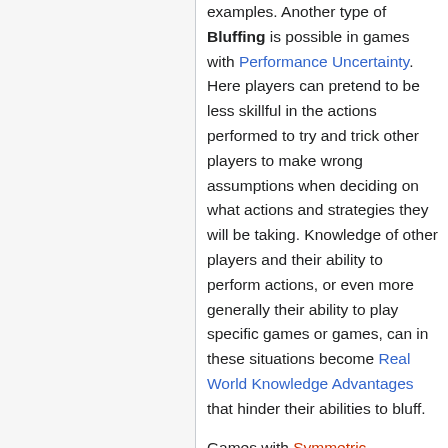examples. Another type of Bluffing is possible in games with Performance Uncertainty. Here players can pretend to be less skillful in the actions performed to try and trick other players to make wrong assumptions when deciding on what actions and strategies they will be taking. Knowledge of other players and their ability to perform actions, or even more generally their ability to play specific games or games, can in these situations become Real World Knowledge Advantages that hinder their abilities to bluff.
Games with Symmetric Information can be difficult to combine with the possibility for players to bluff since other players can be able to deduce goals and intentions of those that try to bluff.